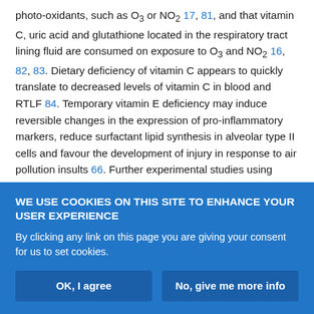photo-oxidants, such as O3 or NO2 17, 81, and that vitamin C, uric acid and glutathione located in the respiratory tract lining fluid are consumed on exposure to O3 and NO2 16, 82, 83. Dietary deficiency of vitamin C appears to quickly translate to decreased levels of vitamin C in blood and RTLF 84. Temporary vitamin E deficiency may induce reversible changes in the expression of pro-inflammatory markers, reduce surfactant lipid synthesis in alveolar type II cells and favour the development of injury in response to air pollution insults 66. Further experimental studies using antioxidants, iron chelators or other substances support the role of ROS as mediators of the effects of particulates 37, 54. Oxidative stress appears to play a critical role
WE USE COOKIES ON THIS SITE TO ENHANCE YOUR USER EXPERIENCE
By clicking any link on this page you are giving your consent for us to set cookies.